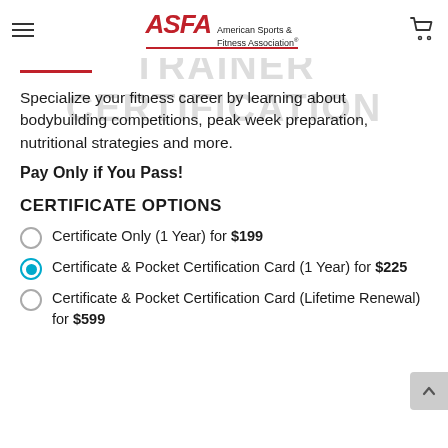ASFA American Sports & Fitness Association
Specialize your fitness career by learning about bodybuilding competitions, peak week preparation, nutritional strategies and more.
Pay Only if You Pass!
CERTIFICATE OPTIONS
Certificate Only (1 Year) for $199
Certificate & Pocket Certification Card (1 Year) for $225
Certificate & Pocket Certification Card (Lifetime Renewal) for $599